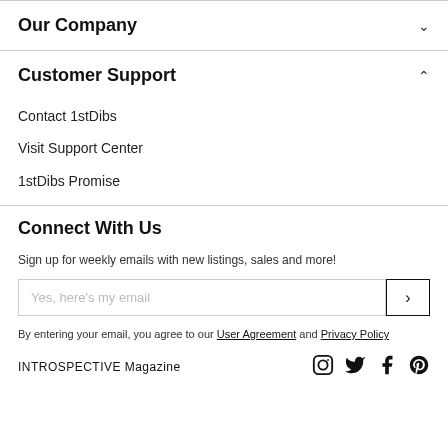Our Company
Customer Support
Contact 1stDibs
Visit Support Center
1stDibs Promise
Connect With Us
Sign up for weekly emails with new listings, sales and more!
Yes, here's my email
By entering your email, you agree to our User Agreement and Privacy Policy
INTROSPECTIVE Magazine